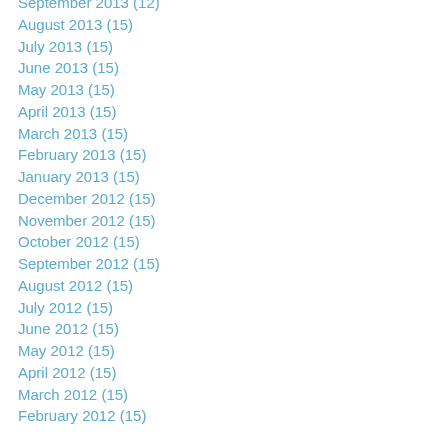September 2013 (12)
August 2013 (15)
July 2013 (15)
June 2013 (15)
May 2013 (15)
April 2013 (15)
March 2013 (15)
February 2013 (15)
January 2013 (15)
December 2012 (15)
November 2012 (15)
October 2012 (15)
September 2012 (15)
August 2012 (15)
July 2012 (15)
June 2012 (15)
May 2012 (15)
April 2012 (15)
March 2012 (15)
February 2012 (15)